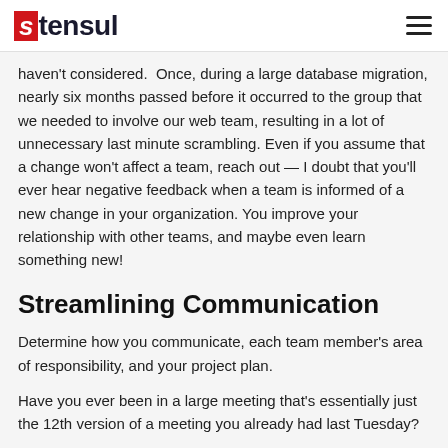stensul
haven't considered.  Once, during a large database migration, nearly six months passed before it occurred to the group that we needed to involve our web team, resulting in a lot of unnecessary last minute scrambling. Even if you assume that a change won't affect a team, reach out — I doubt that you'll ever hear negative feedback when a team is informed of a new change in your organization. You improve your relationship with other teams, and maybe even learn something new!
Streamlining Communication
Determine how you communicate, each team member's area of responsibility, and your project plan.
Have you ever been in a large meeting that's essentially just the 12th version of a meeting you already had last Tuesday?